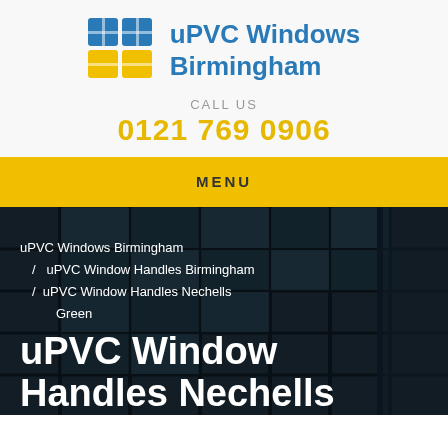[Figure (logo): uPVC Windows Birmingham logo — blue and yellow grid/window icon with blue text brand name]
CALL US
0121 769 0906
MENU
[Figure (photo): Dark photo of modern glass building facade with large window panels, used as hero background image]
uPVC Windows Birmingham / uPVC Window Handles Birmingham / uPVC Window Handles Nechells Green
uPVC Window Handles Nechells